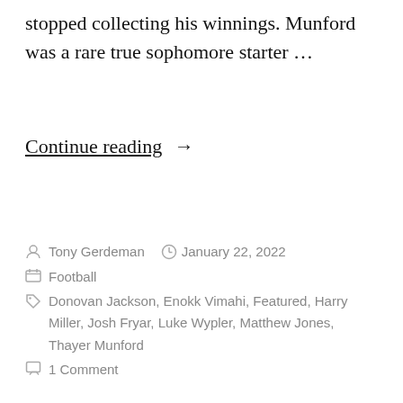stopped collecting his winnings. Munford was a rare true sophomore starter …
Continue reading →
Tony Gerdeman   January 22, 2022
Football
Donovan Jackson, Enokk Vimahi, Featured, Harry Miller, Josh Fryar, Luke Wypler, Matthew Jones, Thayer Munford
1 Comment